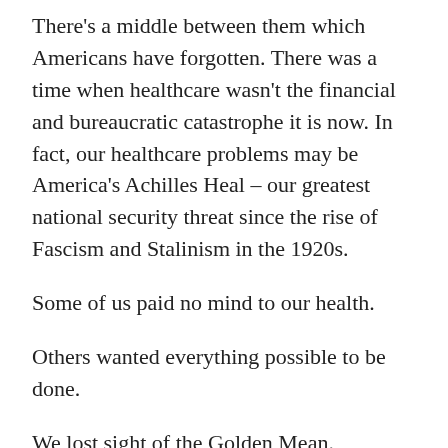There's a middle between them which Americans have forgotten. There was a time when healthcare wasn't the financial and bureaucratic catastrophe it is now. In fact, our healthcare problems may be America's Achilles Heal – our greatest national security threat since the rise of Fascism and Stalinism in the 1920s.
Some of us paid no mind to our health.
Others wanted everything possible to be done.
We lost sight of the Golden Mean.
Perhaps it started somewhere in the 1960s when advanced technologies saved lives previously beyond salvation, and those technologies were repurposed without deep consideration of the consequences.